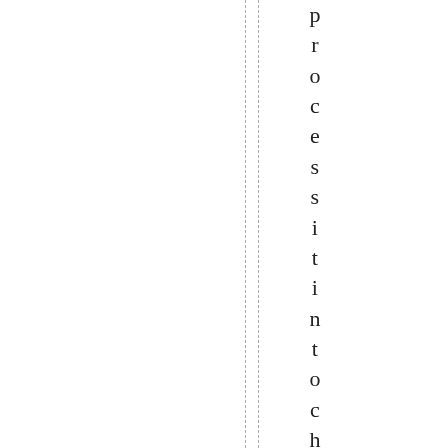processes it into cheese, butte...